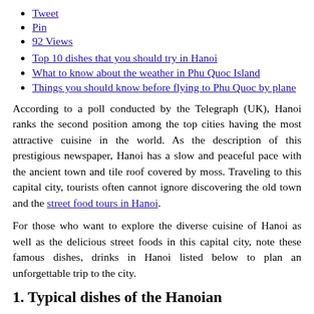Tweet
Pin
92 Views
Top 10 dishes that you should try in Hanoi
What to know about the weather in Phu Quoc Island
Things you should know before flying to Phu Quoc by plane
According to a poll conducted by the Telegraph (UK), Hanoi ranks the second position among the top cities having the most attractive cuisine in the world. As the description of this prestigious newspaper, Hanoi has a slow and peaceful pace with the ancient town and tile roof covered by moss. Traveling to this capital city, tourists often cannot ignore discovering the old town and the street food tours in Hanoi.
For those who want to explore the diverse cuisine of Hanoi as well as the delicious street foods in this capital city, note these famous dishes, drinks in Hanoi listed below to plan an unforgettable trip to the city.
1. Typical dishes of the Hanoian
Pho: It is the name associated with Hanoi city and also the beauty,